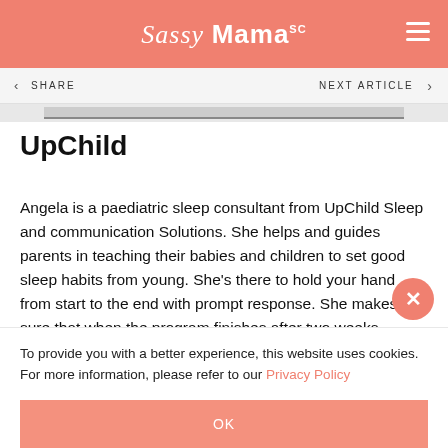Sassy Mama
SHARE   NEXT ARTICLE
UpChild
Angela is a paediatric sleep consultant from UpChild Sleep and communication Solutions. She helps and guides parents in teaching their babies and children to set good sleep habits from young. She’s there to hold your hand from start to the end with prompt response. She makes sure that when the program finishes after two weeks, parents can feel confident about their kids’ sleep and have the freedom to experience ‘me’ time again. She
To provide you with a better experience, this website uses cookies. For more information, please refer to our Privacy Policy
OK